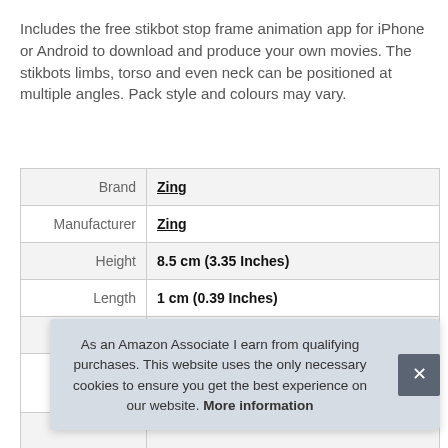Includes the free stikbot stop frame animation app for iPhone or Android to download and produce your own movies. The stikbots limbs, torso and even neck can be positioned at multiple angles. Pack style and colours may vary.
| Brand | Zing |
| Manufacturer | Zing |
| Height | 8.5 cm (3.35 Inches) |
| Length | 1 cm (0.39 Inches) |
| Weight | 0.09 kg (0.2 Pounds) |
| P |  |
As an Amazon Associate I earn from qualifying purchases. This website uses the only necessary cookies to ensure you get the best experience on our website. More information